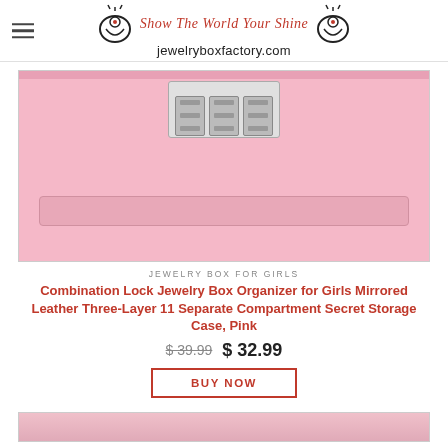Show The World Your Shine jewelryboxfactory.com
[Figure (photo): Close-up top view of a pink combination lock jewelry box showing the combination lock mechanism and a handle/drawer area]
JEWELRY BOX FOR GIRLS
Combination Lock Jewelry Box Organizer for Girls Mirrored Leather Three-Layer 11 Separate Compartment Secret Storage Case, Pink
$ 39.99  $ 32.99
BUY NOW
[Figure (photo): Bottom portion of a pink fabric/leather jewelry box, partially visible]